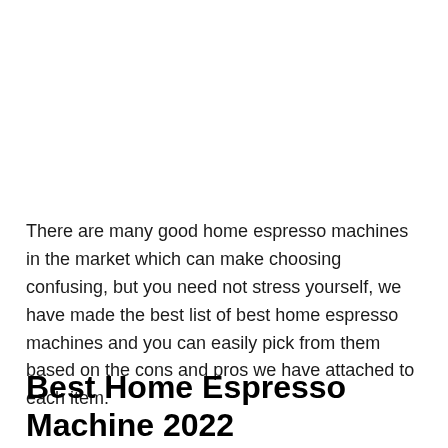There are many good home espresso machines in the market which can make choosing confusing, but you need not stress yourself, we have made the best list of best home espresso machines and you can easily pick from them based on the cons and pros we have attached to each item.
Best Home Espresso Machine 2022